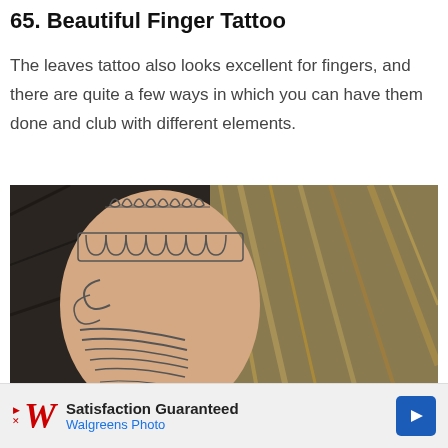65. Beautiful Finger Tattoo
The leaves tattoo also looks excellent for fingers, and there are quite a few ways in which you can have them done and club with different elements.
[Figure (photo): Close-up photograph of a hand/finger with decorative tattoos including mandala-style band with petal designs at top, arch band with repeating U-shapes, and flowing leaf/feather designs below, against a crinkled metallic gold/black background]
[Figure (other): Advertisement banner: Walgreens Photo - Satisfaction Guaranteed, with red Walgreens W logo and blue navigation arrow icon]